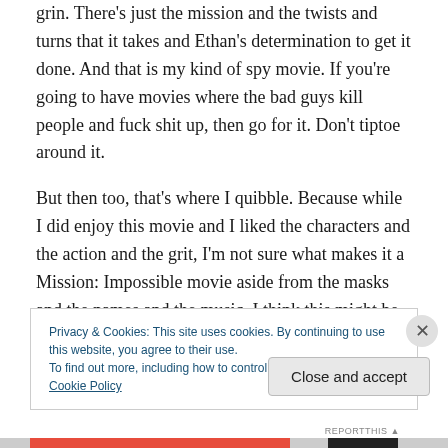grin. There's just the mission and the twists and turns that it takes and Ethan's determination to get it done. And that is my kind of spy movie. If you're going to have movies where the bad guys kill people and fuck shit up, then go for it. Don't tiptoe around it.
But then too, that's where I quibble. Because while I did enjoy this movie and I liked the characters and the action and the grit, I'm not sure what makes it a Mission: Impossible movie aside from the masks and the names and the music. I think this might be an issue for the
Privacy & Cookies: This site uses cookies. By continuing to use this website, you agree to their use.
To find out more, including how to control cookies, see here: Cookie Policy